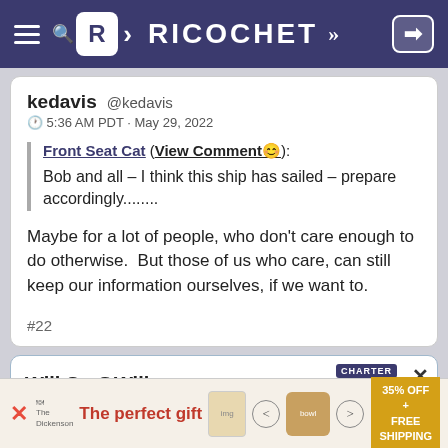RICOCHET
kedavis @kedavis
⊙ 5:36 AM PDT · May 29, 2022
Front Seat Cat (View Comment☺): Bob and all – I think this ship has sailed – prepare accordingly........
Maybe for a lot of people, who don't care enough to do otherwise.  But those of us who care, can still keep our information ourselves, if we want to.
#22